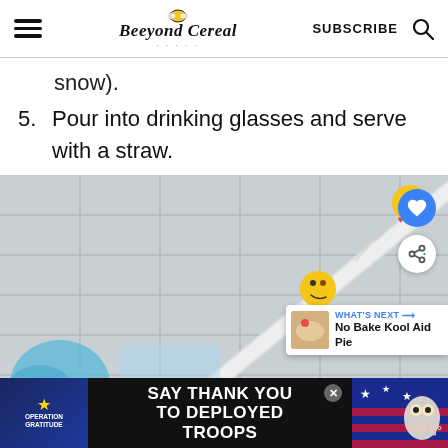BeeyondCereal — SUBSCRIBE
snow).
5. Pour into drinking glasses and serve with a straw.
[Figure (photo): A decorative straw with emoji faces (yellow with hearts) in a glass, held by a hand with teal/blue glove or sleeve, against a tiled background. Social action buttons (heart, share) visible on right side. 'What's Next' card showing 'No Bake Kool Aid Pie'.]
[Figure (infographic): Advertisement banner: Operation Gratitude 'Say Thank You to Deployed Troops' with patriotic imagery including stars, American flag colors, and an owl mascot.]